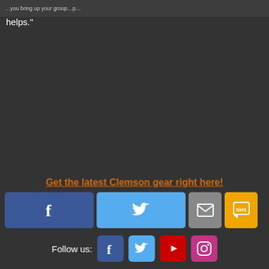...you bring up your group...p...
helps."
Get the latest Clemson gear right here!
[Figure (screenshot): Social share buttons: Facebook (blue), Twitter (light blue), Email (gray), SMS (yellow/orange)]
Follow us:
[Figure (screenshot): Follow us social icons: Facebook, Twitter, YouTube (red), Instagram (magenta)]